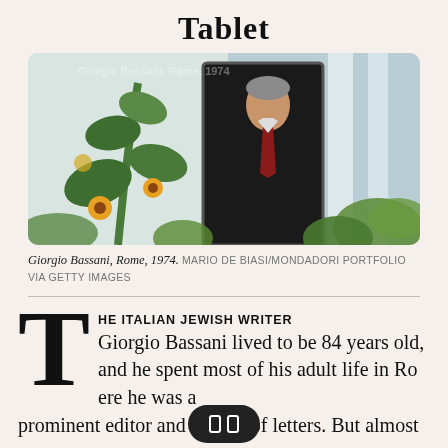Tablet
[Figure (photo): Giorgio Bassani standing outdoors in Rome, 1974, wearing a dark suit and holding a pipe, with a decorative mural of plants behind him and white pillars to the right]
Giorgio Bassani, Rome, 1974. MARIO DE BIASI/MONDADORI PORTFOLIO VIA GETTY IMAGES
THE ITALIAN JEWISH WRITER Giorgio Bassani lived to be 84 years old, and he spent most of his adult life in Rome where he was a prominent editor and man of letters. But almost